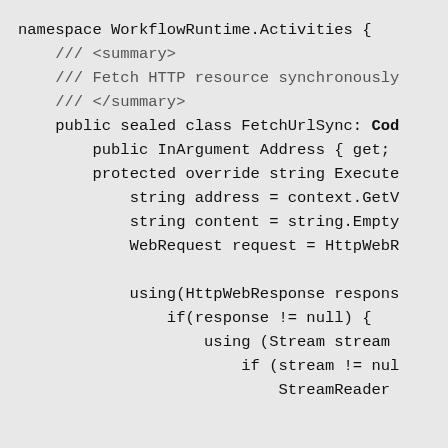namespace WorkflowRuntime.Activities {
    /// <summary>
    /// Fetch HTTP resource synchronously
    /// </summary>
    public sealed class FetchUrlSync: Cod
        public InArgument Address { get;
        protected override string Execute
            string address = context.GetV
            string content = string.Empty
            WebRequest request = HttpWebR

            using(HttpWebResponse respons
                if(response != null) {
                    using (Stream stream
                        if (stream != nul
                            StreamReader